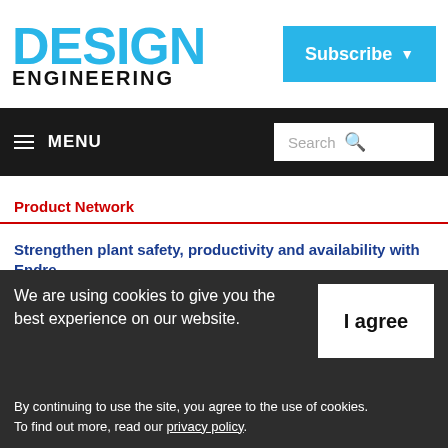DESIGN ENGINEERING
Subscribe
Product Network
Strengthen plant safety, productivity and availability with Endress+Hauser
[Figure (photo): Endress+Hauser advertisement showing workers in safety gear with text Clean Process + Clear Progress and a Find out more button]
Maximizing plant availability, safety and the efficiency of key challenges for today's oil and gas industry. In the face of volatile market forces, strict international tightening resources. Close, accurate monitoring is critical. Our broad, reliable portfolio of instruments and services provides solutions.
We are using cookies to give you the best experience on our website.
By continuing to use the site, you agree to the use of cookies.
To find out more, read our privacy policy.